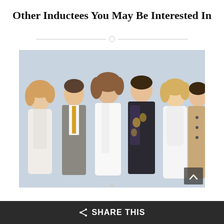Other Inductees You May Be Interested In
[Figure (photo): Group photo of six people (three men and three women) posing together against a light blue-grey background, dressed in formal attire including suits and white outfits.]
SHARE THIS